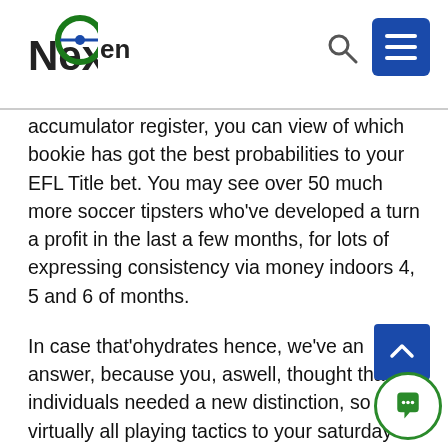NextGen [logo]
accumulator register, you can view of which bookie has got the best probabilities to your EFL Title bet. You may see over 50 much more soccer tipsters who've developed a turn a profit in the last a few months, for lots of expressing consistency via money indoors 4, 5 and 6 of months.
In case that'ohydrates hence, we've an answer, because you, aswell, thought that individuals needed a new distinction, so virtually all playing tactics to your saturday and sunday will be visible for a particular glimpse, even if it'erinarians rugby, playing tennis, hockey or even handball. Consider each of the solutions – With many dissipated online sites imparting number of bank choices on the particular systems, it's important that punters normally never urgent in to making the decision on the topic of which will solution best suits their own needs. As a result, it may seem generate 1000 diverse te buy on line implementing PayPal, only 1 service displays a